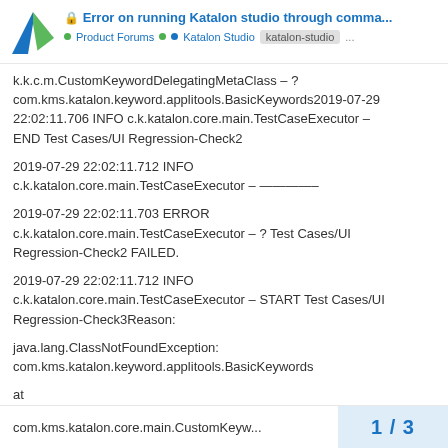🔒 Error on running Katalon studio through comma... • Product Forums •• Katalon Studio katalon-studio ...
k.k.c.m.CustomKeywordDelegatingMetaClass – ? com.kms.katalon.keyword.applitools.BasicKeywords2019-07-29 22:02:11.706 INFO c.k.katalon.core.main.TestCaseExecutor – END Test Cases/UI Regression-Check2
2019-07-29 22:02:11.712 INFO c.k.katalon.core.main.TestCaseExecutor – ————–
2019-07-29 22:02:11.703 ERROR c.k.katalon.core.main.TestCaseExecutor – ? Test Cases/UI Regression-Check2 FAILED.
2019-07-29 22:02:11.712 INFO c.k.katalon.core.main.TestCaseExecutor – START Test Cases/UI Regression-Check3Reason:
java.lang.ClassNotFoundException: com.kms.katalon.keyword.applitools.BasicKeywords
at
com.kms.katalon.core.main.CustomKeyw...
1 / 3